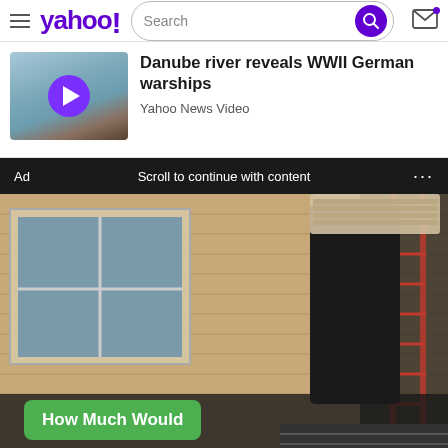yahoo! [search bar] [mail icon]
Danube river reveals WWII German warships
Yahoo News Video
Ad  Scroll to continue with content  ...
[Figure (photo): Person on a ladder carrying materials up against a beige siding house, with a green button overlay reading 'How Much Would']
How Much Would